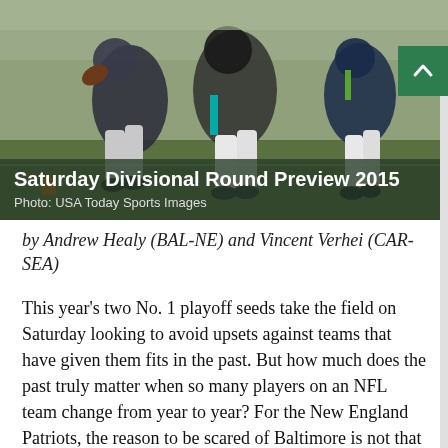[Figure (photo): American football players in action during a game; players in white pants and dark jerseys running on field]
Saturday Divisional Round Preview 2015
Photo: USA Today Sports Images
by Andrew Healy (BAL-NE) and Vincent Verhei (CAR-SEA)
This year's two No. 1 playoff seeds take the field on Saturday looking to avoid upsets against teams that have given them fits in the past. But how much does the past truly matter when so many players on an NFL team change from year to year? For the New England Patriots, the reason to be scared of Baltimore is not that the Ravens have